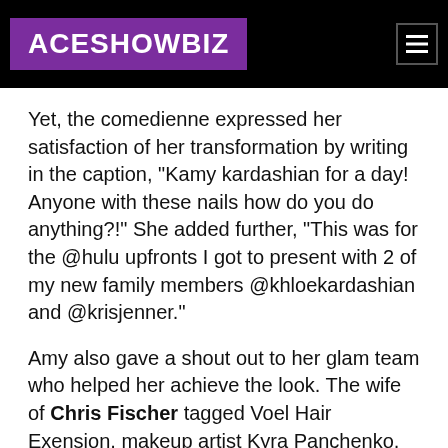ACESHOWBIZ
Yet, the comedienne expressed her satisfaction of her transformation by writing in the caption, "Kamy kardashian for a day! Anyone with these nails how do you do anything?!" She added further, "This was for the @hulu upfronts I got to present with 2 of my new family members @khloekardashian and @krisjenner."
Amy also gave a shout out to her glam team who helped her achieve the look. The wife of Chris Fischer tagged Voel Hair Exension, makeup artist Kyra Panchenko, manicurist Gina Eppolito, stylist Chloe Hartstein and esthetician Georgia Louise in the caption.